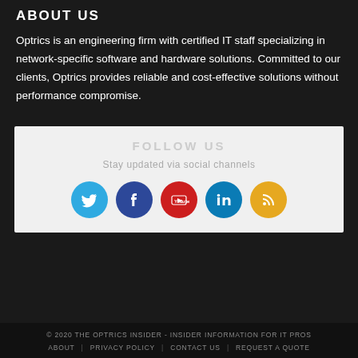ABOUT US
Optrics is an engineering firm with certified IT staff specializing in network-specific software and hardware solutions. Committed to our clients, Optrics provides reliable and cost-effective solutions without performance compromise.
FOLLOW US
Stay updated via social channels
[Figure (infographic): Row of five social media icon circles: Twitter (blue), Facebook (dark blue), YouTube (red), LinkedIn (teal blue), RSS (orange/yellow)]
© 2020 THE OPTRICS INSIDER - INSIDER INFORMATION FOR IT PROS
ABOUT | PRIVACY POLICY | CONTACT US | REQUEST A QUOTE